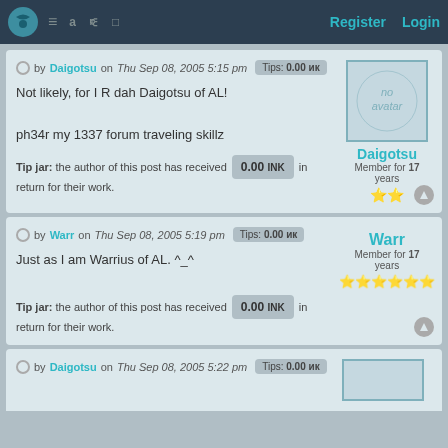Register  Login
by Daigotsu on Thu Sep 08, 2005 5:15 pm  Tips: 0.00 ик
Not likely, for I R dah Daigotsu of AL!

ph34r my 1337 forum traveling skillz
Tip jar: the author of this post has received 0.00 INK in return for their work.
Daigotsu
Member for 17 years
by Warr on Thu Sep 08, 2005 5:19 pm  Tips: 0.00 ик
Just as I am Warrius of AL. ^_^
Tip jar: the author of this post has received 0.00 INK in return for their work.
Warr
Member for 17 years
by Daigotsu on Thu Sep 08, 2005 5:22 pm  Tips: 0.00 ик